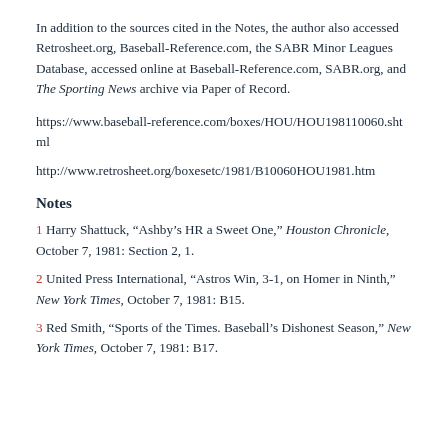In addition to the sources cited in the Notes, the author also accessed Retrosheet.org, Baseball-Reference.com, the SABR Minor Leagues Database, accessed online at Baseball-Reference.com, SABR.org, and The Sporting News archive via Paper of Record.
https://www.baseball-reference.com/boxes/HOU/HOU198110060.shtml
http://www.retrosheet.org/boxesetc/1981/B10060HOU1981.htm
Notes
1 Harry Shattuck, “Ashby’s HR a Sweet One,” Houston Chronicle, October 7, 1981: Section 2, 1.
2 United Press International, “Astros Win, 3-1, on Homer in Ninth,” New York Times, October 7, 1981: B15.
3 Red Smith, “Sports of the Times. Baseball’s Dishonest Season,” New York Times, October 7, 1981: B17.